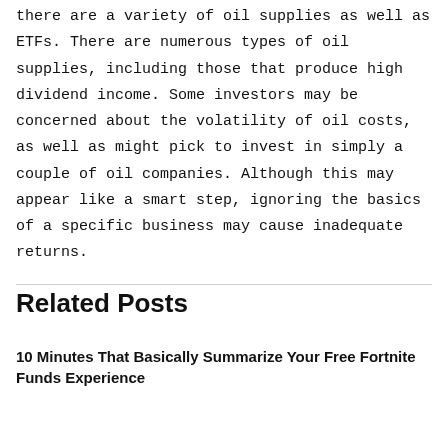there are a variety of oil supplies as well as ETFs. There are numerous types of oil supplies, including those that produce high dividend income. Some investors may be concerned about the volatility of oil costs, as well as might pick to invest in simply a couple of oil companies. Although this may appear like a smart step, ignoring the basics of a specific business may cause inadequate returns.
Related Posts
10 Minutes That Basically Summarize Your Free Fortnite Funds Experience